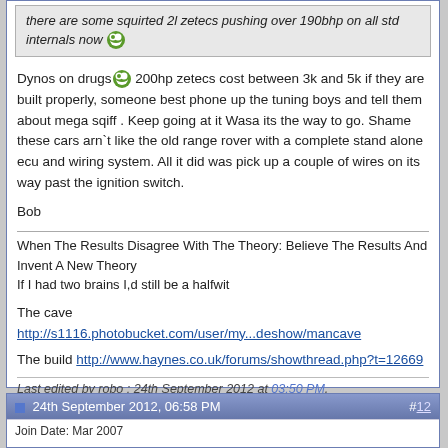there are some squirted 2l zetecs pushing over 190bhp on all std internals now
Dynos on drugs 200hp zetecs cost between 3k and 5k if they are built properly, someone best phone up the tuning boys and tell them about mega sqiff . Keep going at it Wasa its the way to go. Shame these cars arn`t like the old range rover with a complete stand alone ecu and wiring system. All it did was pick up a couple of wires on its way past the ignition switch.

Bob

When The Results Disagree With The Theory: Believe The Results And Invent A New Theory
If I had two brains I,d still be a halfwit

The cave
http://s1116.photobucket.com/user/my...deshow/mancave

The build http://www.haynes.co.uk/forums/showthread.php?t=12669
Last edited by robo : 24th September 2012 at 03:50 PM.
24th September 2012, 06:58 PM
#12
Join Date: Mar 2007